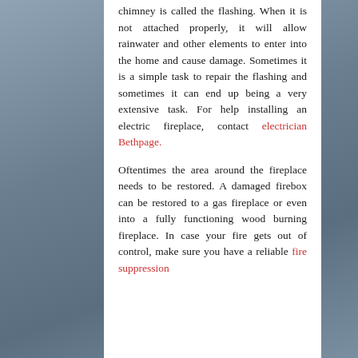chimney is called the flashing. When it is not attached properly, it will allow rainwater and other elements to enter into the home and cause damage. Sometimes it is a simple task to repair the flashing and sometimes it can end up being a very extensive task. For help installing an electric fireplace, contact electrician Bethpage.
Oftentimes the area around the fireplace needs to be restored. A damaged firebox can be restored to a gas fireplace or even into a fully functioning wood burning fireplace. In case your fire gets out of control, make sure you have a reliable fire suppression